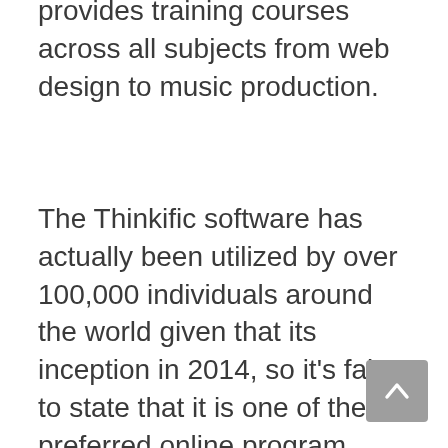provides training courses across all subjects from web design to music production.
The Thinkific software has actually been utilized by over 100,000 individuals around the world given that its inception in 2014, so it’s fair to state that it is one of the preferred online program creation tools.
It’s not as easy as creating your web content on one platform though you will still require to enhance search engines making use of great Search Engine Optimization practices if you desire individuals to find…